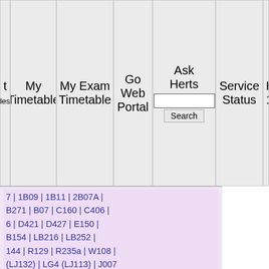My Timetable | My Exam Timetable | Go Web Portal | Ask Herts [Search] | Service Status | Helpdesk 14...
7 | 1B09 | 1B11 | 2B07A | B271 | B07 | C160 | C406 | 6 | D421 | D427 | E150 | B154 | LB216 | LB252 | 144 | R129 | R235a | W108 | (LJ132) | LG4 (LJ113) | J007
| 1C103 | 1F276 | 1F381 | B01 | 2B03A | 2B07 | 2F276 A166 | A234 | AA010 | 245 | B01 | B01A | B09 | C400 | C402 | C408 | D102 | F302 | F304 | F306 | F308 | 326 | F390 | F391 | F392 | 4 | LF231 | LF233 | LF289 | 5 | M139 | M143 | M147 | N105 | N106 | N108 | N110 | 3 | R312 | S023 | S111 | S20 | 02 | W112 | W113 | W116 |